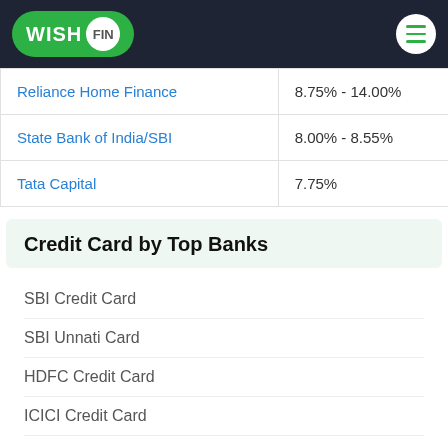WISHFIN
| Bank | Interest Rate |
| --- | --- |
| Reliance Home Finance | 8.75% - 14.00% |
| State Bank of India/SBI | 8.00% - 8.55% |
| Tata Capital | 7.75% |
Credit Card by Top Banks
SBI Credit Card
SBI Unnati Card
HDFC Credit Card
ICICI Credit Card
Axis Bank Credit Card
Citibank Credit Card